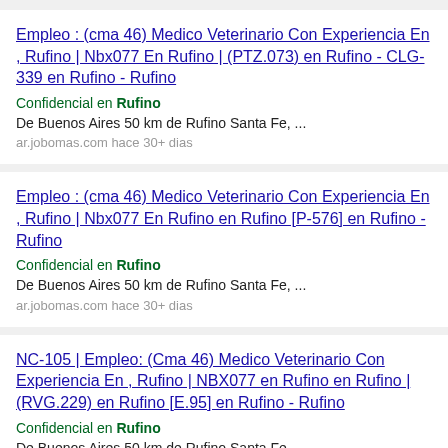Empleo : (cma 46) Medico Veterinario Con Experiencia En , Rufino | Nbx077 En Rufino | (PTZ.073) en Rufino - CLG-339 en Rufino - Rufino
Confidencial en Rufino
De Buenos Aires 50 km de Rufino Santa Fe, ...
ar.jobomas.com hace 30+ dias
Empleo : (cma 46) Medico Veterinario Con Experiencia En , Rufino | Nbx077 En Rufino en Rufino [P-576] en Rufino - Rufino
Confidencial en Rufino
De Buenos Aires 50 km de Rufino Santa Fe, ...
ar.jobomas.com hace 30+ dias
NC-105 | Empleo: (Cma 46) Medico Veterinario Con Experiencia En , Rufino | NBX077 en Rufino en Rufino | (RVG.229) en Rufino [E.95] en Rufino - Rufino
Confidencial en Rufino
De Buenos Aires 50 km de Rufino Santa Fe, ...
ar.jobomas.com hace 30+ dias